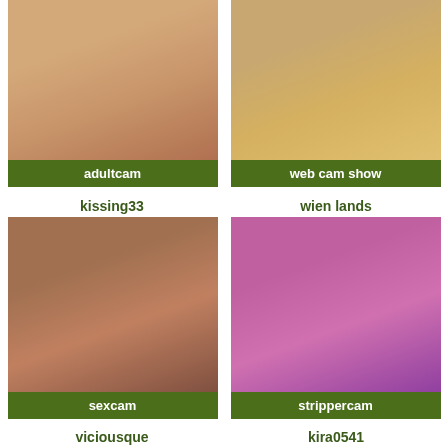[Figure (photo): Webcam thumbnail of a young woman in a pink top sitting on a bed]
adultcam
[Figure (photo): Webcam thumbnail of a nude woman standing in a room]
web cam show
kissing33
wien lands
[Figure (photo): Webcam thumbnail of a woman in lingerie with a toy]
sexcam
[Figure (photo): Webcam thumbnail of explicit adult content with pink lighting]
strippercam
viciousque
kira0541